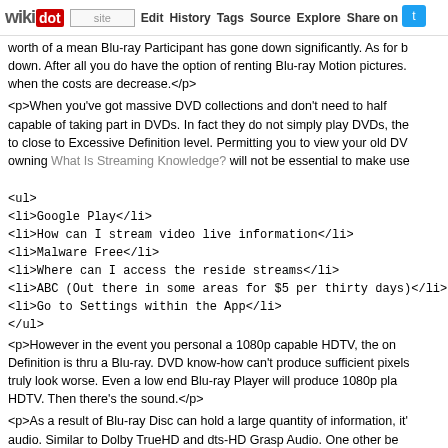wikidot | site | Edit | History | Tags | Source | Explore | Share on [Twitter]
worth of a mean Blu-ray Participant has gone down significantly. As for b down. After all you do have the option of renting Blu-ray Motion pictures. when the costs are decrease.</p>
<p>When you've got massive DVD collections and don't need to half capable of taking part in DVDs. In fact they do not simply play DVDs, the to close to Excessive Definition level. Permitting you to view your old DV owning What Is Streaming Knowledge? will not be essential to make use
<ul>
<li>Google Play</li>
<li>How can I stream video live information</li>
<li>Malware Free</li>
<li>Where can I access the reside streams</li>
<li>ABC (Out there in some areas for $5 per thirty days)</li>
<li>Go to Settings within the App</li>
</ul>
<p>However in the event you personal a 1080p capable HDTV, the on Definition is thru a Blu-ray. DVD know-how can't produce sufficient pixels truly look worse. Even a low end Blu-ray Player will produce 1080p pla HDTV. Then there's the sound.</p>
<p>As a result of Blu-ray Disc can hold a large quantity of information, it' audio. Similar to Dolby TrueHD and dts-HD Grasp Audio. One other be connect with the internet. Want to Make Video Projects? have this capac since 2009 are Blu-ray Profile 2.0. This means they have both an Etherr Player connected to the web opens up a wide range of options and advar Content, Online Streaming Media Providers or DLNA support.</p>